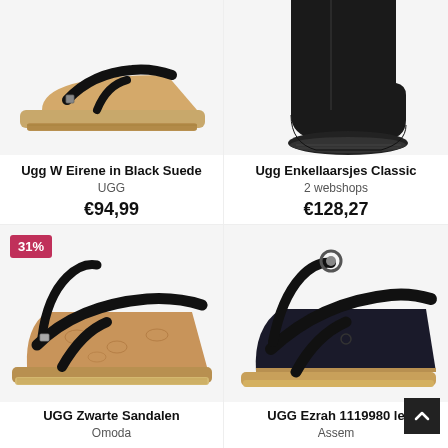[Figure (photo): Ugg W Eirene wedge sandal in black on espadrille sole, top portion cropped]
[Figure (photo): Ugg classic ankle boot in black suede, top portion cropped]
Ugg W Eirene in Black Suede
UGG
€94,99
Ugg Enkellaarsjes Classic
2 webshops
€128,27
[Figure (photo): UGG black leather wedge sandal with ankle strap on cork/espadrille platform, 31% discount badge]
[Figure (photo): UGG Ezrah black leather wedge sandal with ankle strap, partially cropped]
UGG Zwarte Sandalen
Omoda
UGG Ezrah 1119980 le
Assem